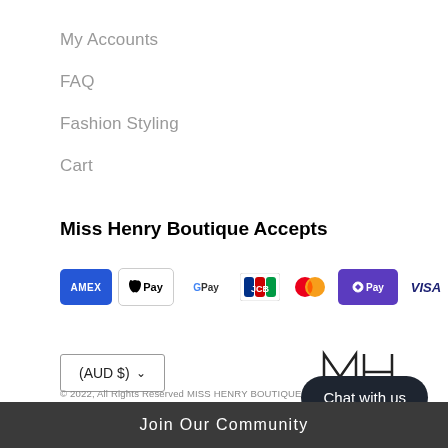My Accounts
FAQ
Fashion Styling
Cart
Miss Henry Boutique Accepts
[Figure (logo): Payment method logos: American Express, Apple Pay, Google Pay, JCB, Mastercard, Shop Pay, Visa]
(AUD $) ∨
[Figure (logo): MH monogram logo for Miss Henry Boutique]
© 2022, All Rights Reserved MISS HENRY BOUTIQUE
Chat with us
Join Our Community